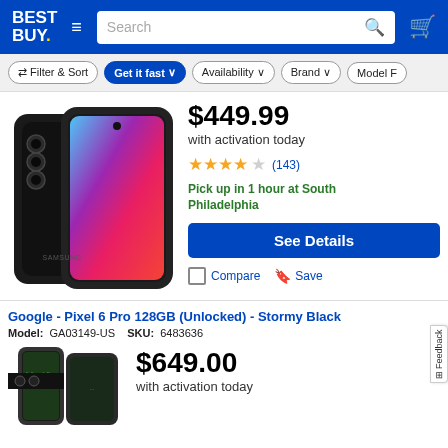[Figure (screenshot): Best Buy website header with logo, hamburger menu, search bar, and cart icon on blue background]
[Figure (other): Filter and sort bar with buttons: Filter & Sort, Get it fast, Availability, Brand, Model F]
$449.99
with activation today
★★★★☆ (143)
Pick up in 1 hour at South Philadelphia
See Details
Compare  Save
Google - Pixel 6 Pro 128GB (Unlocked) - Stormy Black
Model: GA03149-US  SKU: 6483636
$649.00
with activation today